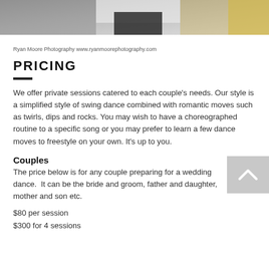[Figure (photo): Top portion of a wedding dance photo showing a couple, cropped to show mainly torsos and hands]
Ryan Moore Photography www.ryanmoorephotography.com
PRICING
We offer private sessions catered to each couple's needs. Our style is a simplified style of swing dance combined with romantic moves such as twirls, dips and rocks. You may wish to have a choreographed routine to a specific song or you may prefer to learn a few dance moves to freestyle on your own. It's up to you.
Couples
The price below is for any couple preparing for a wedding dance.  It can be the bride and groom, father and daughter, mother and son etc.
$80 per session
$300 for 4 sessions